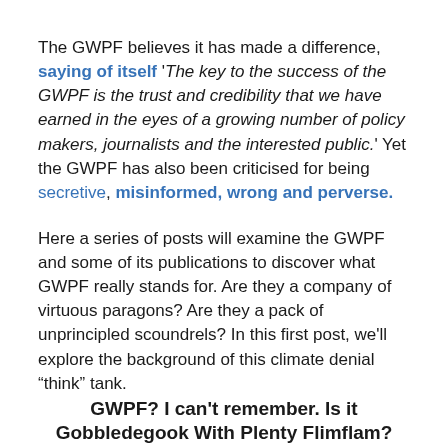The GWPF believes it has made a difference, saying of itself 'The key to the success of the GWPF is the trust and credibility that we have earned in the eyes of a growing number of policy makers, journalists and the interested public.' Yet the GWPF has also been criticised for being secretive, misinformed, wrong and perverse.
Here a series of posts will examine the GWPF and some of its publications to discover what GWPF really stands for. Are they a company of virtuous paragons? Are they a pack of unprincipled scoundrels? In this first post, we'll explore the background of this climate denial “think” tank.
GWPF? I can't remember. Is it Gobbledegook With Plenty Flimflam?